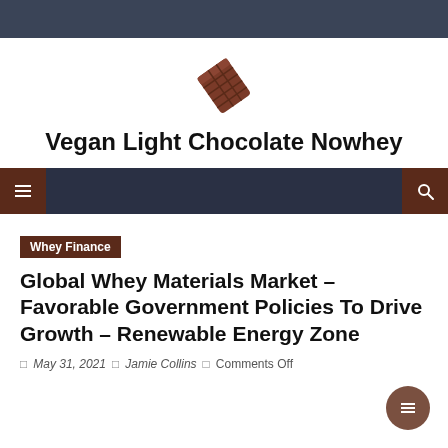[Figure (logo): Chocolate bar icon in brown/maroon color]
Vegan Light Chocolate Nowhey
[Figure (other): Navigation bar with hamburger menu icon on left (brown background) and search icon on right (brown background) on dark navy background]
Whey Finance
Global Whey Materials Market – Favorable Government Policies To Drive Growth – Renewable Energy Zone
May 31, 2021  Jamie Collins  Comments Off